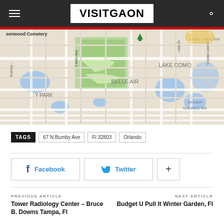VISITGAON
[Figure (map): Street map showing Lake Como, Belle Air, Y Park, Dover Shores We, Lake Underhi areas in Orlando, FL. Streets including S Mills Ave, Summery Ave visible. Green cemetery area at top left.]
TAGS  67 N Bumby Ave  Fl 32803  Orlando
[Figure (infographic): Social sharing buttons: Facebook, Twitter, and a plus (+) button]
PREVIOUS ARTICLE
Tower Radiology Center – Bruce B. Downs Tampa, Fl
NEXT ARTICLE
Budget U Pull It Winter Garden, Fl